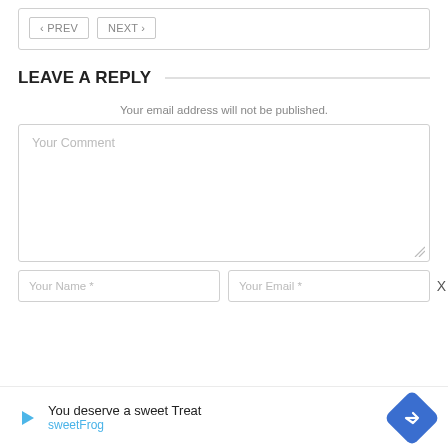[Figure (screenshot): Navigation buttons: < PREV and NEXT > in a bordered box]
LEAVE A REPLY
Your email address will not be published.
[Figure (screenshot): Your Comment textarea (empty, with resize handle)]
[Figure (screenshot): Your Name * and Your Email * input fields side by side, with X close button]
[Figure (screenshot): Ad banner: play icon, 'You deserve a sweet Treat', 'sweetFrog', blue diamond navigation icon]